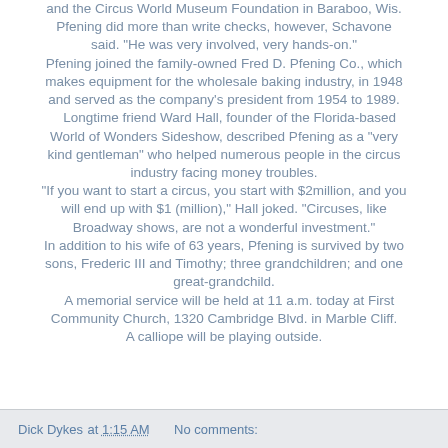and the Circus World Museum Foundation in Baraboo, Wis. Pfening did more than write checks, however, Schavone said. "He was very involved, very hands-on." Pfening joined the family-owned Fred D. Pfening Co., which makes equipment for the wholesale baking industry, in 1948 and served as the company's president from 1954 to 1989. Longtime friend Ward Hall, founder of the Florida-based World of Wonders Sideshow, described Pfening as a "very kind gentleman" who helped numerous people in the circus industry facing money troubles. "If you want to start a circus, you start with $2million, and you will end up with $1 (million)," Hall joked. "Circuses, like Broadway shows, are not a wonderful investment." In addition to his wife of 63 years, Pfening is survived by two sons, Frederic III and Timothy; three grandchildren; and one great-grandchild. A memorial service will be held at 11 a.m. today at First Community Church, 1320 Cambridge Blvd. in Marble Cliff. A calliope will be playing outside.
Dick Dykes at 1:15 AM   No comments: